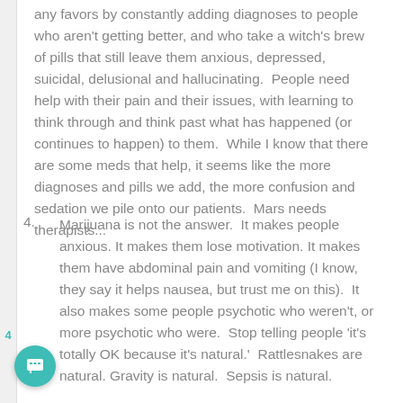any favors by constantly adding diagnoses to people who aren't getting better, and who take a witch's brew of pills that still leave them anxious, depressed, suicidal, delusional and hallucinating.  People need help with their pain and their issues, with learning to think through and think past what has happened (or continues to happen) to them.  While I know that there are some meds that help, it seems like the more diagnoses and pills we add, the more confusion and sedation we pile onto our patients.  Mars needs therapists...
4. Marijuana is not the answer.  It makes people anxious. It makes them lose motivation. It makes them have abdominal pain and vomiting (I know, they say it helps nausea, but trust me on this).  It also makes some people psychotic who weren't, or more psychotic who were.  Stop telling people 'it's totally OK because it's natural.'  Rattlesnakes are natural.  Gravity is natural.  Sepsis is natural.